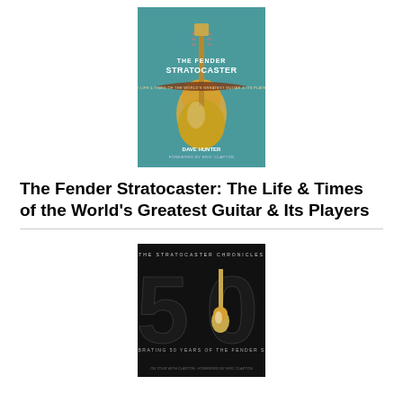[Figure (photo): Book cover of 'The Fender Stratocaster: The Life & Times of the World's Greatest Guitar & Its Players' by Dave Hunter, showing a gold Stratocaster guitar on a teal background with a brown strap banner]
The Fender Stratocaster: The Life & Times of the World's Greatest Guitar & Its Players
[Figure (photo): Book cover of 'The Stratocaster Chronicles: 50 Celebrating 50 Years of the Fender Strat', showing a large '50' with a Stratocaster guitar visible through the zero, on a black background]